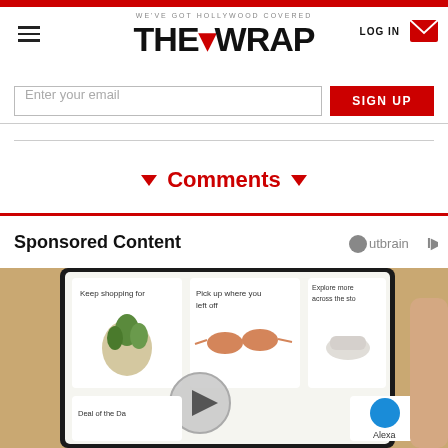WE'VE GOT HOLLYWOOD COVERED — THE WRAP — LOG IN
Enter your email
SIGN UP
▼ Comments ▼
Sponsored Content
[Figure (screenshot): Sponsored content advertisement showing a smartphone screen with shopping recommendations including a plant, sunglasses, and shoes, with a video play button overlay and 'Alexa' text. Outbrain powered content.]